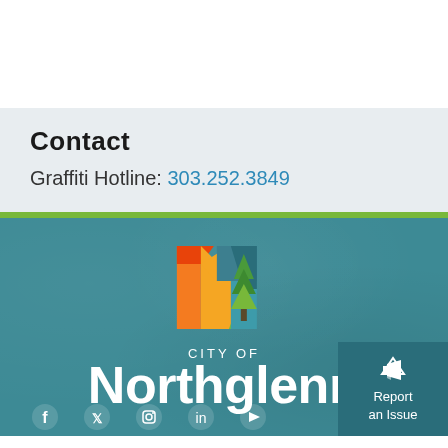Contact
Graffiti Hotline: 303.252.3849
[Figure (logo): City of Northglenn logo — stylized letter N made of colorful geometric shapes (orange, yellow, green, teal) with pine tree motif, on teal background with white 'CITY OF Northglenn' text]
Report an Issue